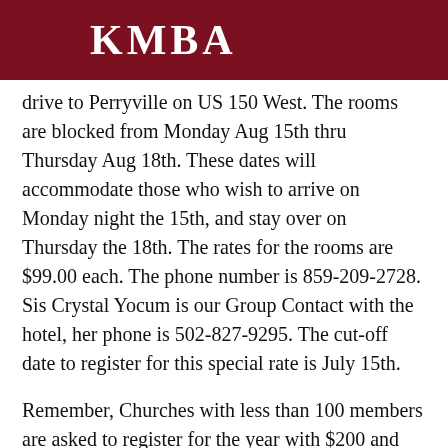KMBA
drive to Perryville on US 150 West. The rooms are blocked from Monday Aug 15th thru Thursday Aug 18th. These dates will accommodate those who wish to arrive on Monday night the 15th, and stay over on Thursday the 18th. The rates for the rooms are $99.00 each. The phone number is 859-209-2728. Sis Crystal Yocum is our Group Contact with the hotel, her phone is 502-827-9295. The cut-off date to register for this special rate is July 15th.
Remember, Churches with less than 100 members are asked to register for the year with $200 and those with more than 100 members are asked to register with $500. For each, the registration can be done by paying 50% at the Annual Session and 50% during the Pastor and Church